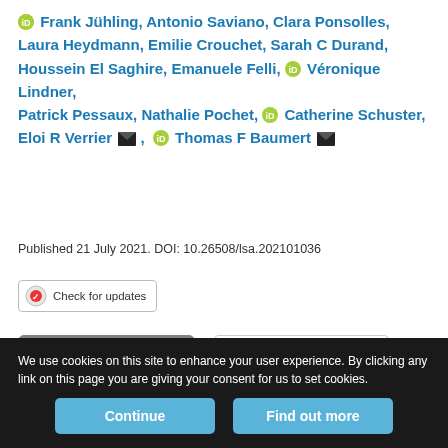Frank Jühling, Antonio Saviano, Clara Ponsolles, Laura Heydmann, Emilie Crouchet, Sarah C Durand, Houssein El Saghire, Emanuele Felli, Véronique Lindner, Patrick Pessaux, Nathalie Pochet, Catherine Schuster, Eloi R Verrier, Thomas F Baumert
Published 21 July 2021. DOI: 10.26508/lsa.202101036
[Figure (other): Check for updates badge button]
Article
Figures & Data
Info
Metrics
We use cookies on this site to enhance your user experience. By clicking any link on this page you are giving your consent for us to set cookies.